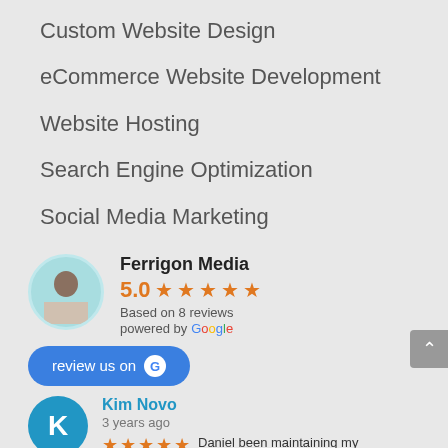Custom Website Design
eCommerce Website Development
Website Hosting
Search Engine Optimization
Social Media Marketing
Ferrigon Media
5.0 ★★★★★
Based on 8 reviews
powered by Google
review us on Google
Kim Novo
3 years ago
★★★★★ Daniel been maintaining my